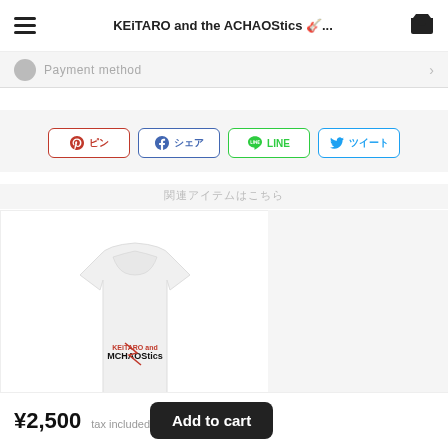KEiTARO and the ACHAOStics 🎸...
Payment method
[Figure (screenshot): Social share buttons: Pinterest (ピン), Facebook (シェア), LINE, Twitter (ツイート)]
関連アイテムはこちら
[Figure (photo): White v-neck t-shirt with KEiTARO and the ACHAOStics logo printed on the chest]
¥2,500 tax included
Add to cart